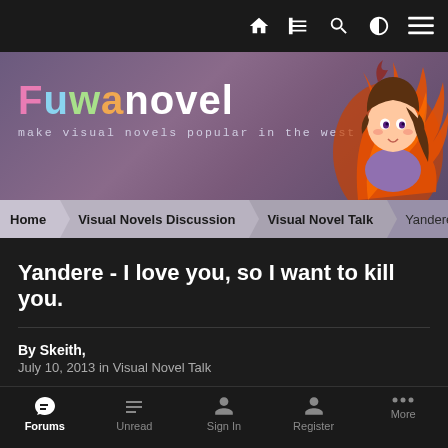[Figure (screenshot): Mobile website screenshot of Fuwanovel forum. Top black navigation bar with home, news, search, theme, and menu icons. Below is a purple/mauve banner with the Fuwanovel logo in colorful letters and tagline 'make visual novels popular in the west', with an anime girl character with brown hair and orange flames on the right. Breadcrumb navigation shows: Home > Visual Novels Discussion > Visual Novel Talk > Yandere - I love. Below is a dark section with the topic title 'Yandere - I love you, so I want to kill you.' and metadata 'By Skeith, July 10, 2013 in Visual Novel Talk'. A pink/rose area contains a 'Reply to this topic' button. Bottom navigation bar shows Forums (active), Unread, Sign In, Register, More.]